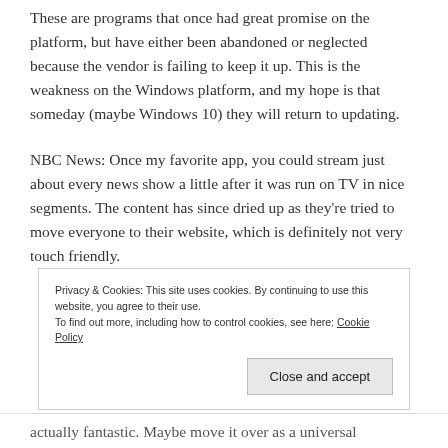These are programs that once had great promise on the platform, but have either been abandoned or neglected because the vendor is failing to keep it up. This is the weakness on the Windows platform, and my hope is that someday (maybe Windows 10) they will return to updating.
NBC News: Once my favorite app, you could stream just about every news show a little after it was run on TV in nice segments. The content has since dried up as they're tried to move everyone to their website, which is definitely not very touch friendly.
Privacy & Cookies: This site uses cookies. By continuing to use this website, you agree to their use.
To find out more, including how to control cookies, see here: Cookie Policy
[Close and accept]
actually fantastic. Maybe move it over as a universal